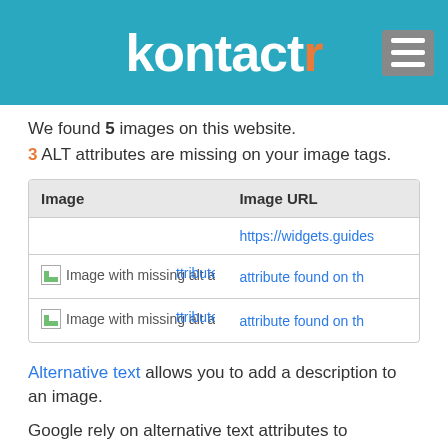kontactr
We found 5 images on this website.
3 ALT attributes are missing on your image tags.
| Image | Image URL |
| --- | --- |
|  | https://widgets.guides |
| Image with missing alt attribute found on th | attribute found on th |
| Image with missing alt attribute found on th | attribute found on th |
Alternative text allows you to add a description to an image.
Google rely on alternative text attributes to